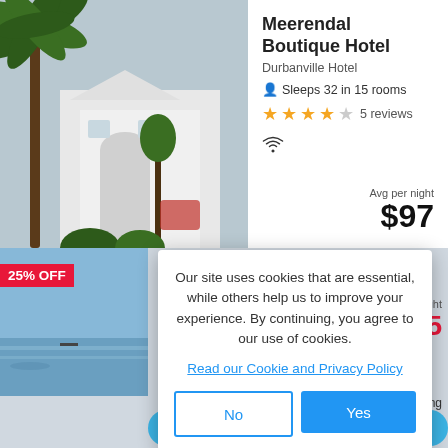[Figure (photo): Photo of Meerendal Boutique Hotel exterior with palm trees and white building]
Meerendal Boutique Hotel
Durbanville Hotel
Sleeps 32 in 15 rooms
★★★★☆ 5 reviews
WiFi icon
Avg per night
$97
[Figure (screenshot): Screenshot of travel booking website background showing beach/ocean view with 25% OFF badge and partial price showing 55]
Our site uses cookies that are essential, while others help us to improve your experience. By continuing, you agree to our use of cookies.
Read our Cookie and Privacy Policy
No
Yes
Green Point Self-catering